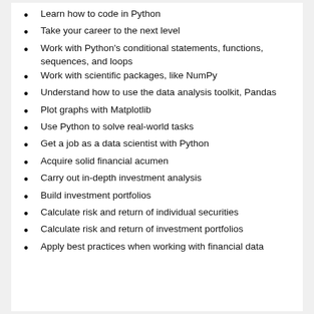Learn how to code in Python
Take your career to the next level
Work with Python's conditional statements, functions, sequences, and loops
Work with scientific packages, like NumPy
Understand how to use the data analysis toolkit, Pandas
Plot graphs with Matplotlib
Use Python to solve real-world tasks
Get a job as a data scientist with Python
Acquire solid financial acumen
Carry out in-depth investment analysis
Build investment portfolios
Calculate risk and return of individual securities
Calculate risk and return of investment portfolios
Apply best practices when working with financial data